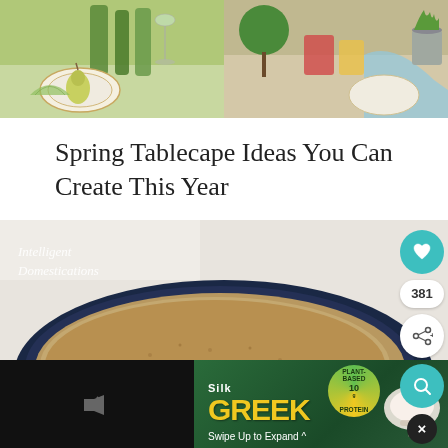[Figure (photo): Two spring tablescapes side by side: left shows green bottles and a pear on a plate with floral china; right shows colorful table setting with green centerpiece]
Spring Tablecape Ideas You Can Create This Year
[Figure (photo): Close-up photo of a springform pan with a cork/crumb base, watermark reading 'Intelligent Domestications', with social media buttons (heart, 381 count, share, search, close) on the right side, and an advertisement overlay at the bottom for Silk Greek yogurt with '10g Plant-Based Protein' badge and 'Swipe Up to Expand' text]